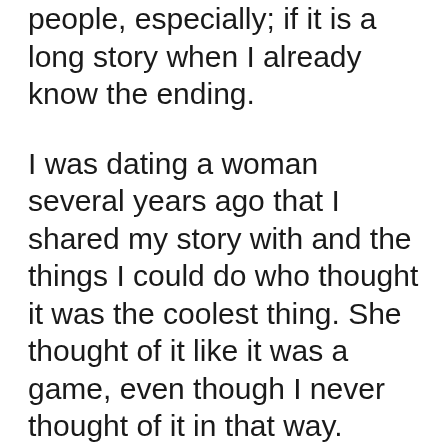people, especially; if it is a long story when I already know the ending.
I was dating a woman several years ago that I shared my story with and the things I could do who thought it was the coolest thing. She thought of it like it was a game, even though I never thought of it in that way.
She used to drive me crazy, asking me if I knew what she was thinking about now. It wasn't long before I